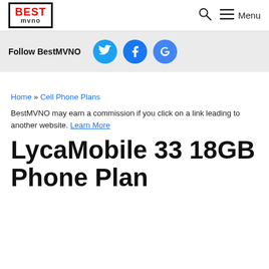BEST mvno — Menu
Follow BestMVNO [Twitter] [Facebook] [Google]
Home » Cell Phone Plans
BestMVNO may earn a commission if you click on a link leading to another website. Learn More
LycaMobile 33 18GB Phone Plan